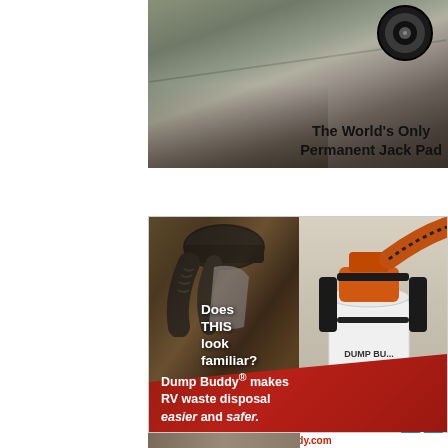[Figure (photo): Top portion of advertisement showing a photo of motorcycles/bikes on pavement with a circular jack pad product overlay, with text 'The World's Only Permanent Jack Pad' in bold]
The World's Only Permanent Jack Pad
[Figure (photo): Dump Buddy advertisement showing split image: left side shows person struggling with black sewer hose/bag in messy conditions, right side shows clean orange/black Dump Buddy product. Text overlay 'Does THIS look familiar?' on left. Red banner at bottom reads 'Dump Buddy® makes RV waste disposal easier and safer.']
Does THIS look familiar?
Dump Buddy® makes RV waste disposal easier and safer.
[Figure (logo): Dump Buddy logo in brown/tan colors]
www.dumpbuddy.com
[Figure (photo): Bottom partial image strip showing another product/scene]